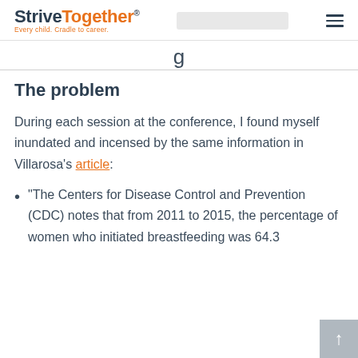StriveTogether® Every child. Cradle to career.
The problem
During each session at the conference, I found myself inundated and incensed by the same information in Villarosa's article:
“The Centers for Disease Control and Prevention (CDC) notes that from 2011 to 2015, the percentage of women who initiated breastfeeding was 64.3